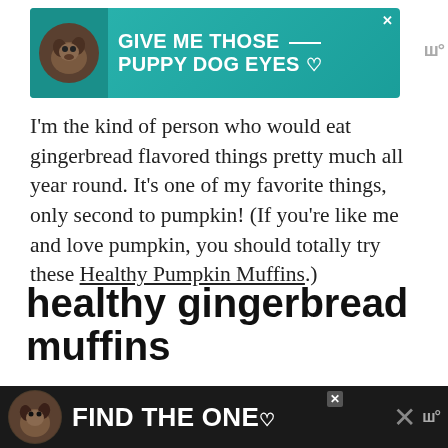[Figure (screenshot): Teal advertisement banner with dog image and text 'GIVE ME THOSE PUPPY DOG EYES' with a heart icon]
I'm the kind of person who would eat gingerbread flavored things pretty much all year round. It's one of my favorite things, only second to pumpkin! (If you're like me and love pumpkin, you should totally try these Healthy Pumpkin Muffins.)
healthy gingerbread muffins
[Figure (screenshot): Dark recipe card showing 'Healthy Gingerbread Muffins' with a partial food photo below]
[Figure (screenshot): Dark advertisement banner at bottom with dog photo and text 'FIND THE ONE' with heart icon and close/mute buttons]